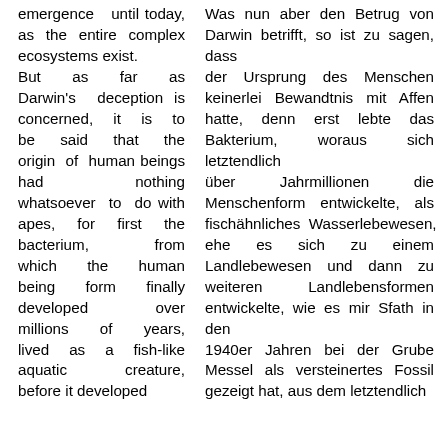emergence until today, as the entire complex ecosystems exist.
But as far as Darwin's deception is concerned, it is to be said that the origin of human beings had nothing whatsoever to do with apes, for first the bacterium, from which the human being form finally developed over millions of years, lived as a fish-like aquatic creature, before it developed
Was nun aber den Betrug von Darwin betrifft, so ist zu sagen, dass der Ursprung des Menschen keinerlei Bewandtnis mit Affen hatte, denn erst lebte das Bakterium, woraus sich letztendlich über Jahrmillionen die Menschenform entwickelte, als fischähnliches Wasserlebewesen, ehe es sich zu einem Landlebewesen und dann zu weiteren Landlebensformen entwickelte, wie es mir Sfath in den 1940er Jahren bei der Grube Messel als versteinertes Fossil gezeigt hat, aus dem letztendlich